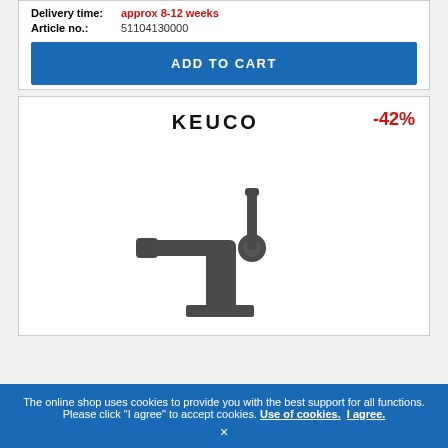Delivery time: approx 8-12 weeks
Article no.: 51104130000
ADD TO CART
[Figure (logo): KEUCO brand logo in bold black text]
-42%
[Figure (photo): Dark grey/anthracite single-lever basin mixer faucet by KEUCO with a flat spout and cylindrical lever handle on a square base]
The online shop uses cookies to provide you with the best support for all functions. Please click "I agree" to accept cookies. Use of cookies. I agree.